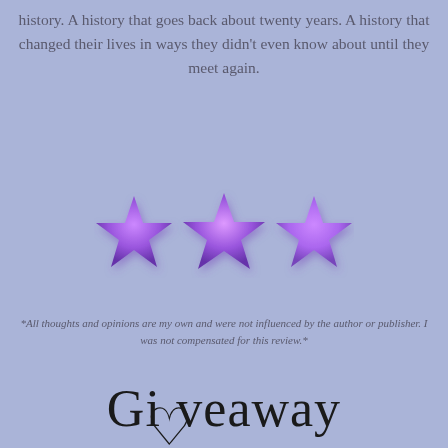history. A history that goes back about twenty years. A history that changed their lives in ways they didn't even know about until they meet again.
[Figure (illustration): Three purple star emoji icons displayed in a row, used as a 3-star rating indicator]
*All thoughts and opinions are my own and were not influenced by the author or publisher. I was not compensated for this review.*
Giveaway